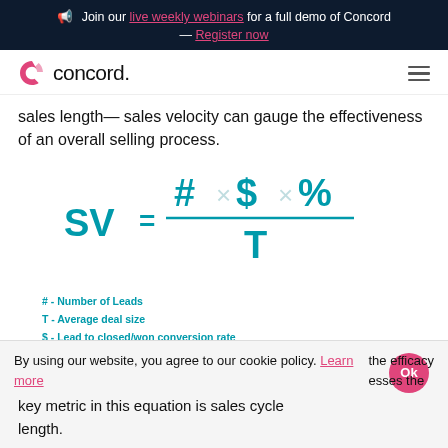Join our live weekly webinars for a full demo of Concord — Register now
[Figure (logo): Concord logo with pink swirl icon and hamburger menu icon]
sales length— sales velocity can gauge the effectiveness of an overall selling process.
# - Number of Leads
T - Average deal size
$ - Lead to closed/won conversion rate
% - Average conversion rate
By using our website, you agree to our cookie policy. Learn more — the efficacy esses the key metric in this equation is sales cycle length.